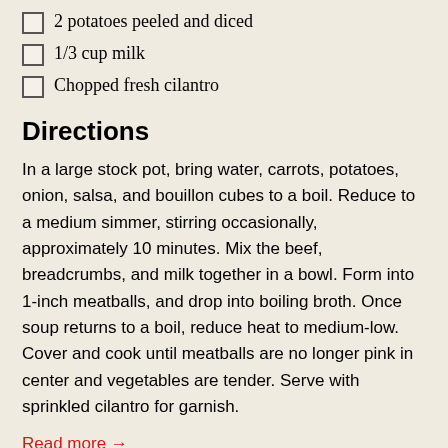2 potatoes peeled and diced
1/3 cup milk
Chopped fresh cilantro
Directions
In a large stock pot, bring water, carrots, potatoes, onion, salsa, and bouillon cubes to a boil. Reduce to a medium simmer, stirring occasionally, approximately 10 minutes. Mix the beef, breadcrumbs, and milk together in a bowl. Form into 1-inch meatballs, and drop into boiling broth. Once soup returns to a boil, reduce heat to medium-low. Cover and cook until meatballs are no longer pink in center and vegetables are tender. Serve with sprinkled cilantro for garnish.
Read more →
Saturday, 6 February 2016, 12:08 am
Published in Recipes
[Figure (photo): Food photo thumbnail on a teal plate]
Carne